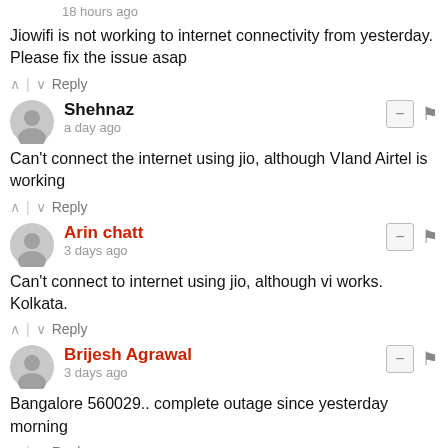18 hours ago
Jiowifi is not working to internet connectivity from yesterday. Please fix the issue asap
↑ | ↓  Reply
Shehnaz
a day ago
Can't connect the internet using jio, although VIand Airtel is working
↑ | ↓  Reply
Arin chatt
3 days ago
Can't connect to internet using jio, although vi works. Kolkata.
↑ | ↓  Reply
Brijesh Agrawal
3 days ago
Bangalore 560029.. complete outage since yesterday morning
↑ | ↓  Reply
Rahul Subba
3 days ago